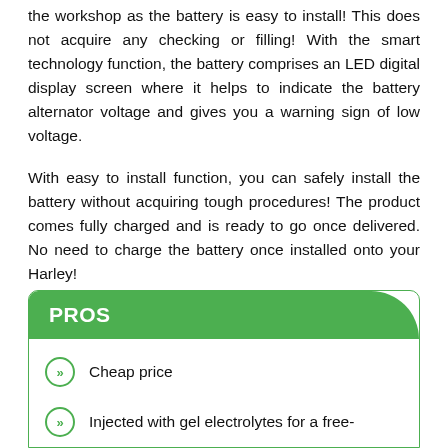the workshop as the battery is easy to install! This does not acquire any checking or filling! With the smart technology function, the battery comprises an LED digital display screen where it helps to indicate the battery alternator voltage and gives you a warning sign of low voltage.
With easy to install function, you can safely install the battery without acquiring tough procedures! The product comes fully charged and is ready to go once delivered. No need to charge the battery once installed onto your Harley!
PROS
Cheap price
Injected with gel electrolytes for a free-